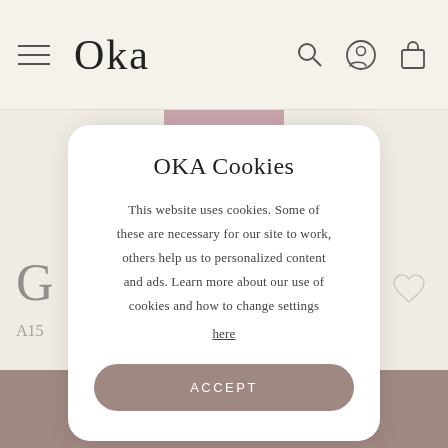OKA
OKA Cookies
This website uses cookies. Some of these are necessary for our site to work, others help us to personalized content and ads. Learn more about our use of cookies and how to change settings here